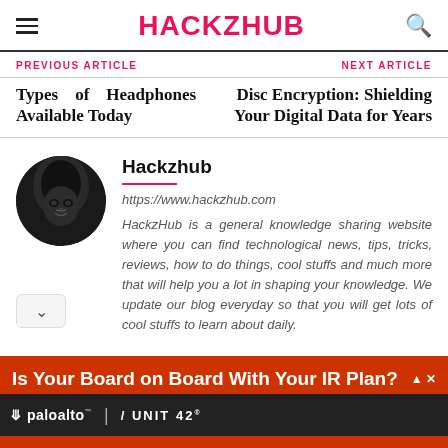HACKZHUB
PREVIOUS ARTICLE
NEXT ARTICLE
Types of Headphones Available Today
Disc Encryption: Shielding Your Digital Data for Years
Hackzhub
https://www.hackzhub.com
HackzHub is a general knowledge sharing website where you can find technological news, tips, tricks, reviews, how to do things, cool stuffs and much more that will help you a lot in shaping your knowledge. We update our blog everyday so that you will get lots of cool stuffs to learn about daily.
[Figure (other): Advertisement banner: orange/red background with text 'Is Your Board on Board With Your IR Plan?' and logos for Palo Alto Networks and Unit 42]